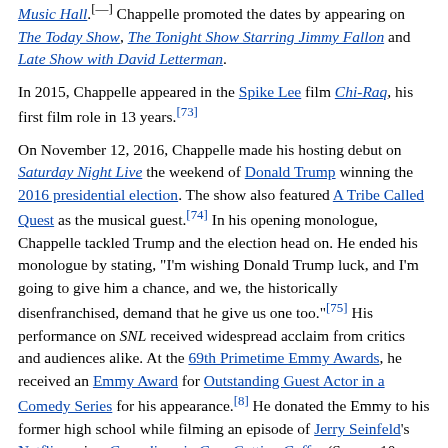Music Hall.[—] Chappelle promoted the dates by appearing on The Today Show, The Tonight Show Starring Jimmy Fallon and Late Show with David Letterman.
In 2015, Chappelle appeared in the Spike Lee film Chi-Raq, his first film role in 13 years.[73]
On November 12, 2016, Chappelle made his hosting debut on Saturday Night Live the weekend of Donald Trump winning the 2016 presidential election. The show also featured A Tribe Called Quest as the musical guest.[74] In his opening monologue, Chappelle tackled Trump and the election head on. He ended his monologue by stating, "I'm wishing Donald Trump luck, and I'm going to give him a chance, and we, the historically disenfranchised, demand that he give us one too."[75] His performance on SNL received widespread acclaim from critics and audiences alike. At the 69th Primetime Emmy Awards, he received an Emmy Award for Outstanding Guest Actor in a Comedy Series for his appearance.[8] He donated the Emmy to his former high school while filming an episode of Jerry Seinfeld's Netflix series, Comedians in Cars Getting Coffee (Season 10, Episode 2: "Nobody Says, 'I Wish I Had A Camera'").[76]
On November 21, 2016, Netflix announced that they would be releasing three new stand-up comedy specials from Chappelle in